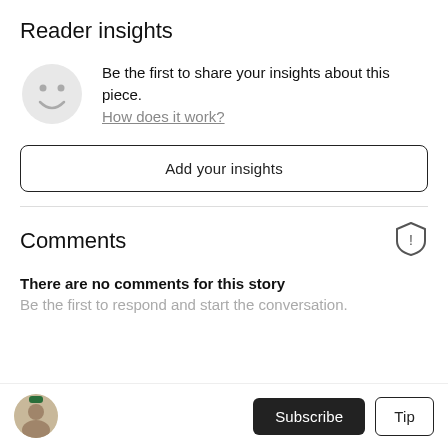Reader insights
Be the first to share your insights about this piece.
How does it work?
Add your insights
Comments
There are no comments for this story
Be the first to respond and start the conversation.
Subscribe   Tip